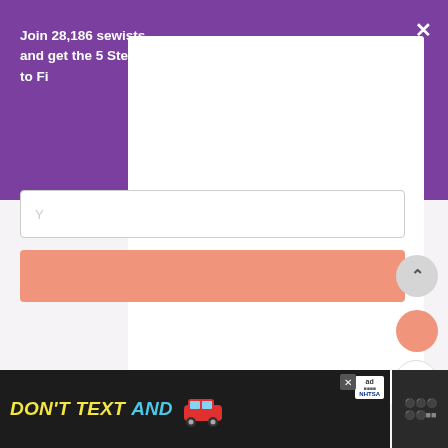Join 28,186 sewists and get the 5 Steps to Finding Your Perfect Fit
[Figure (screenshot): Email signup modal overlay on a purple background, with an email input field and salmon-colored submit button. A large white overlay covers the center-right portion. Bottom shows a NHTSA 'Don't Text and Drive' advertisement banner with a red car emoji and yellow/cyan text on dark background.]